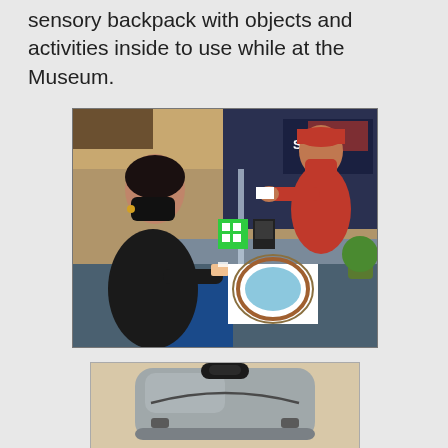sensory backpack with objects and activities inside to use while at the Museum.
[Figure (photo): A woman wearing a black mask and dark top stands at a museum ticket counter, receiving a museum map and ticket from a staff member in a red uniform and red cap. A green QR code sign and a touchscreen payment device are visible on the counter. A 'SPACE' exhibit banner is visible in the background.]
[Figure (photo): Close-up of a sensory or adaptive backpack in gray/silver color with a dark handle visible at the top.]